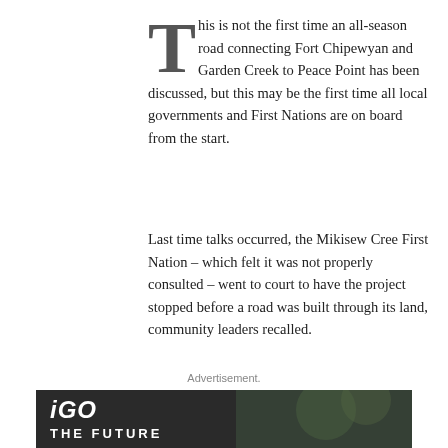This is not the first time an all-season road connecting Fort Chipewyan and Garden Creek to Peace Point has been discussed, but this may be the first time all local governments and First Nations are on board from the start.
Last time talks occurred, the Mikisew Cree First Nation – which felt it was not properly consulted – went to court to have the project stopped before a road was built through its land, community leaders recalled.
Advertisement.
[Figure (photo): Advertisement banner for iGO with text 'iGO THE FUTURE' on dark background with person in background]